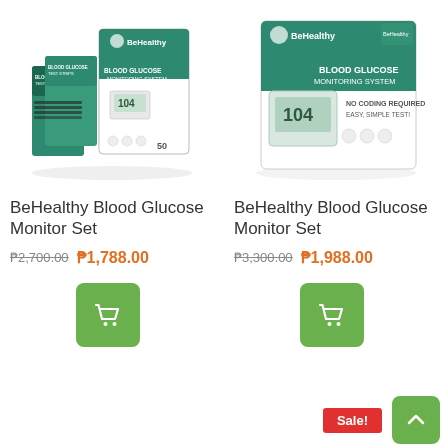[Figure (photo): BeHealthy Blood Glucose Monitor Set product photo showing box with test strips and device, left product card]
BeHealthy Blood Glucose Monitor Set
₱2,700.00  ₱1,788.00
[Figure (photo): BeHealthy Blood Glucose Monitor Set product photo showing single box with device, right product card]
BeHealthy Blood Glucose Monitor Set
₱3,300.00  ₱1,988.00
Sale!